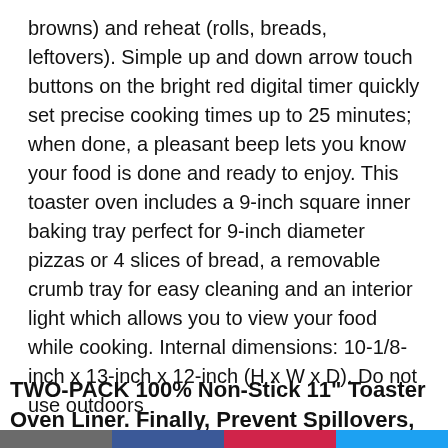browns) and reheat (rolls, breads, leftovers). Simple up and down arrow touch buttons on the bright red digital timer quickly set precise cooking times up to 25 minutes; when done, a pleasant beep lets you know your food is done and ready to enjoy. This toaster oven includes a 9-inch square inner baking tray perfect for 9-inch diameter pizzas or 4 slices of bread, a removable crumb tray for easy cleaning and an interior light which allows you to view your food while cooking. Internal dimensions: 10-1/8-inch x 13-inch x 12-inch (H x W x D). Do not use outdoors
[Figure (other): Red pill-shaped button labeled GO TO AMAZON; grey square scroll-to-top button with upward chevron]
TWO-PACK 100% Non-Stick 11" Toaster Oven Liner. Finally, Prevent Spillovers, Gunk & Odors! Great Teflon Liner for Large
Social share bar footer